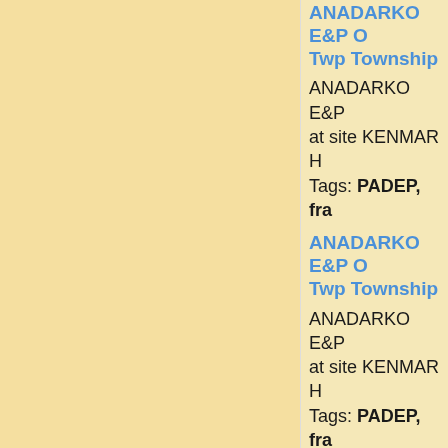ANADARKO E&P O... Twp Township
ANADARKO E&P... at site KENMAR H... Tags: PADEP, fra...
ANADARKO E&P O... Twp Township
ANADARKO E&P... at site KENMAR H... Tags: PADEP, fra...
PA Gas Drilling Pe...
Gas permit issued... 6H in Rutland Twp... Tags: PADEP, fra...
PA Gas Drilling Pe...